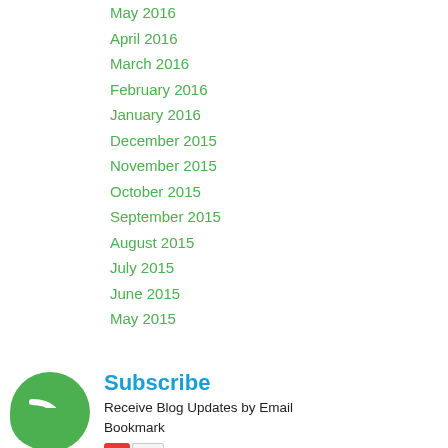May 2016
April 2016
March 2016
February 2016
January 2016
December 2015
November 2015
October 2015
September 2015
August 2015
July 2015
June 2015
May 2015
Subscribe
Receive Blog Updates by Email
Bookmark
[Figure (logo): Green circle RSS feed icon]
[Figure (logo): Partial green circle icon at bottom]